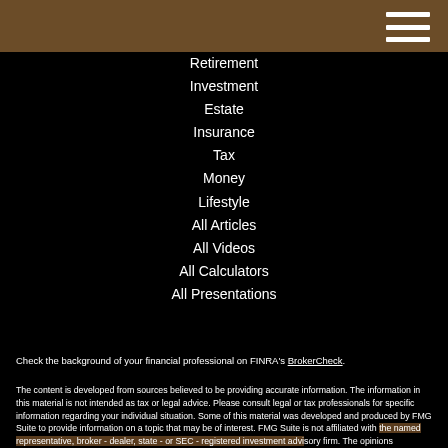Retirement
Investment
Estate
Insurance
Tax
Money
Lifestyle
All Articles
All Videos
All Calculators
All Presentations
Check the background of your financial professional on FINRA’s BrokerCheck.
The content is developed from sources believed to be providing accurate information. The information in this material is not intended as tax or legal advice. Please consult legal or tax professionals for specific information regarding your individual situation. Some of this material was developed and produced by FMG Suite to provide information on a topic that may be of interest. FMG Suite is not affiliated with the named representative, broker - dealer, state - or SEC - registered investment advisory firm. The opinions expressed and material provided are for general information, and should not be considered a solicitation for the purchase or sale of any security.